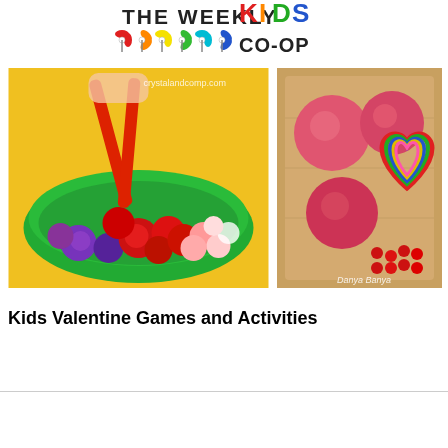[Figure (logo): The Weekly Kids Co-Op logo with colorful pinwheel decorations and rainbow-colored 'KIDS' text and 'CO-OP' in dark letters]
[Figure (photo): Child using red tongs to pick up colorful pom poms (red, purple, pink, white) in a green bowl on a yellow surface. Watermark: crystalandcomp.com]
[Figure (photo): Wooden tray with pink/red play dough balls, rainbow colored heart-shaped cookie cutters, and red beads. Watermark: Danya Banya]
Kids Valentine Games and Activities